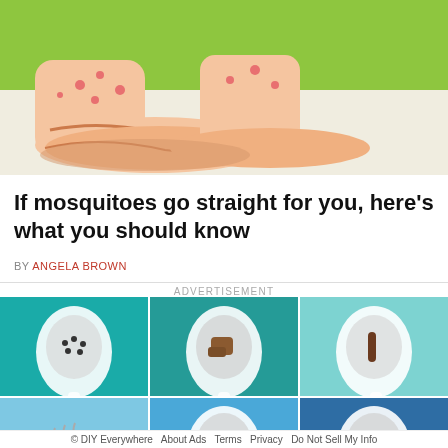[Figure (illustration): Cartoon illustration of human feet/legs with mosquito bite bumps, resting on a green surface]
If mosquitoes go straight for you, here's what you should know
BY ANGELA BROWN
ADVERTISEMENT
[Figure (illustration): Advertisement grid showing 6 panels of toilet/spoon health infographic illustrations on teal and blue backgrounds]
© DIY Everywhere   About Ads   Terms   Privacy   Do Not Sell My Info